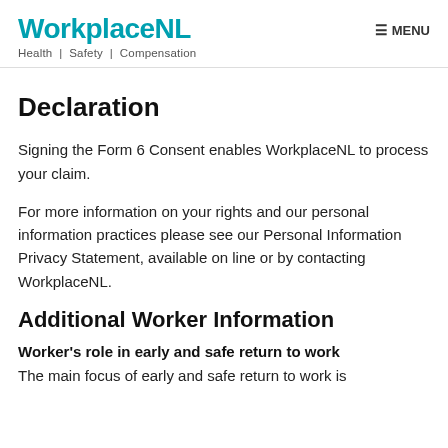WorkplaceNL Health | Safety | Compensation
Declaration
Signing the Form 6 Consent enables WorkplaceNL to process your claim.
For more information on your rights and our personal information practices please see our Personal Information Privacy Statement, available on line or by contacting WorkplaceNL.
Additional Worker Information
Worker's role in early and safe return to work
The main focus of early and safe return to work is